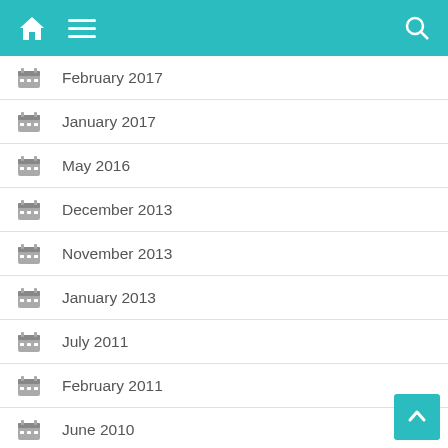[Figure (screenshot): Teal mobile app navigation bar with home icon, hamburger menu icon on the left, and search icon on the right]
February 2017
January 2017
May 2016
December 2013
November 2013
January 2013
July 2011
February 2011
June 2010
May 2010
April 2010